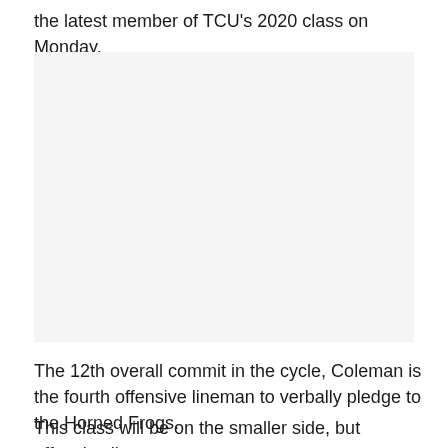the latest member of TCU's 2020 class on Monday.
[Figure (photo): Photo placeholder — light gray rectangle representing an image]
The 12th overall commit in the cycle, Coleman is the fourth offensive lineman to verbally pledge to the Horned Frogs.
This class will be on the smaller side, but offensive line